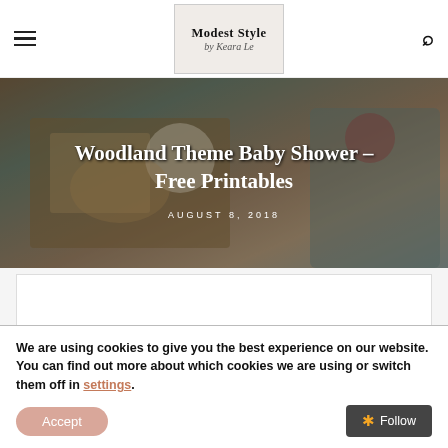Modest Style by Keara Le
[Figure (photo): Hero photo of woodland theme baby shower food display with cheese board and cracker arrangement, overlaid with title text 'Woodland Theme Baby Shower – Free Printables' and date 'AUGUST 8, 2018']
Woodland Theme Baby Shower – Free Printables
AUGUST 8, 2018
[Figure (other): Empty white advertisement or content placeholder box]
We are using cookies to give you the best experience on our website.
You can find out more about which cookies we are using or switch them off in settings.
Accept
Follow